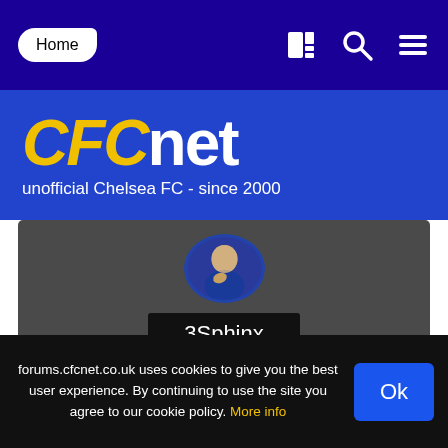Home
[Figure (logo): CFCnet logo — 'CFC' in bold yellow italic, 'net' in white, on blue background. Subtitle: unofficial Chelsea FC - since 2000]
[Figure (photo): User profile page for 3Sphinx on forums.cfcnet.co.uk. Circular avatar photo of a Chelsea FC player. Username: 3Sphinx, group: Members_2012]
forums.cfcnet.co.uk uses cookies to give you the best user experience. By continuing to use the site you agree to our cookie policy. More info